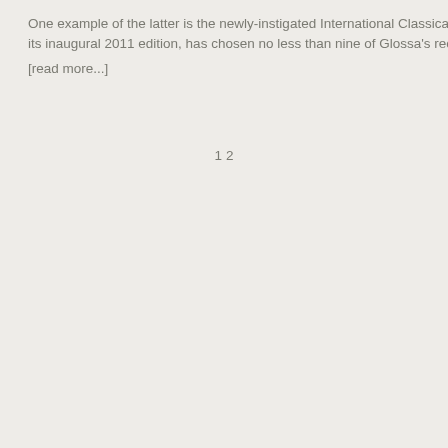One example of the latter is the newly-instigated International Classical Music Awards (ICMA) wh its inaugural 2011 edition, has chosen no less than nine of Glossa's recent releases in its initial nom [read more...]
1 2